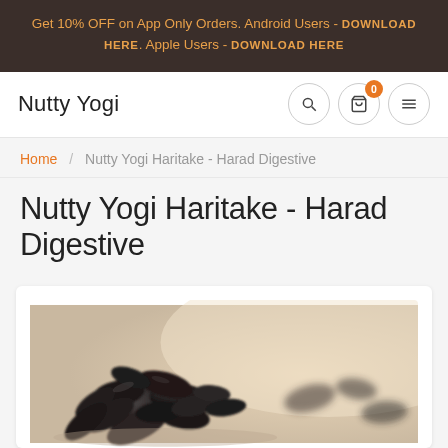Get 10% OFF on App Only Orders. Android Users - DOWNLOAD HERE. Apple Users - DOWNLOAD HERE
Nutty Yogi
Home / Nutty Yogi Haritake - Harad Digestive
Nutty Yogi Haritake - Harad Digestive
[Figure (photo): Close-up photograph of dark dried harad (haritake) fruits in a bowl or on a surface, blurred background in warm beige tones]